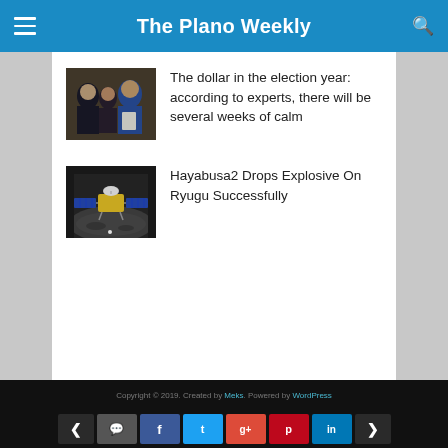The Plano Weekly
[Figure (photo): Two men and a woman in a formal indoor setting, one holding papers]
The dollar in the election year: according to experts, there will be several weeks of calm
[Figure (photo): Hayabusa2 spacecraft model over asteroid Ryugu surface]
Hayabusa2 Drops Explosive On Ryugu Successfully
Copyright © 2019. Created by Meks. Powered by WordPress